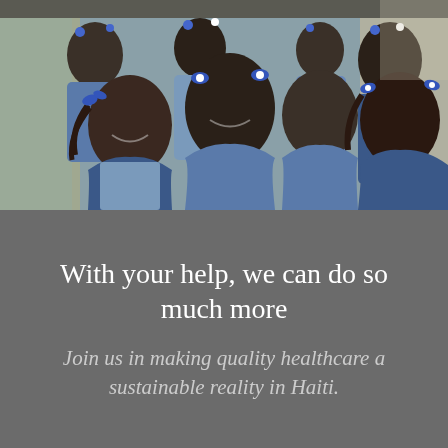[Figure (photo): A group of Haitian school children in blue uniforms smiling at the camera, standing in what appears to be a school corridor with concrete block walls.]
With your help, we can do so much more
Join us in making quality healthcare a sustainable reality in Haiti.